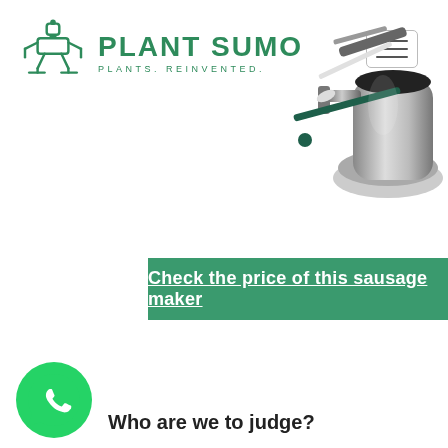[Figure (logo): Plant Sumo logo: sumo wrestler icon in green with text PLANT SUMO and tagline PLANTS. REINVENTED.]
[Figure (other): Hamburger/menu button icon with three horizontal lines inside a rounded rectangle border]
[Figure (photo): Photo of a sausage maker appliance in chrome/silver with attachments including blades and tools]
Check the price of this sausage maker
[Figure (logo): WhatsApp icon - green circle with white phone handset]
Who are we to judge?